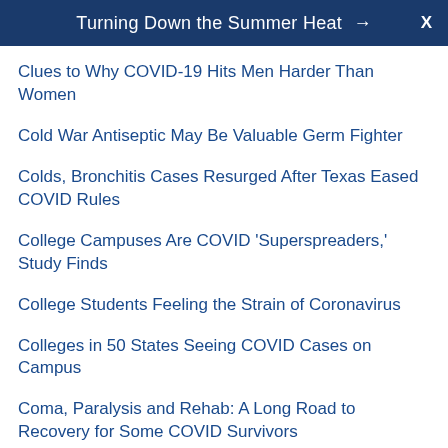Turning Down the Summer Heat →  X
Clues to Why COVID-19 Hits Men Harder Than Women
Cold War Antiseptic May Be Valuable Germ Fighter
Colds, Bronchitis Cases Resurged After Texas Eased COVID Rules
College Campuses Are COVID 'Superspreaders,' Study Finds
College Students Feeling the Strain of Coronavirus
Colleges in 50 States Seeing COVID Cases on Campus
Coma, Paralysis and Rehab: A Long Road to Recovery for Some COVID Survivors
Combining Remdesivir With Other Meds Could Boost COVID-Fighting Power
Comparing This Virus...